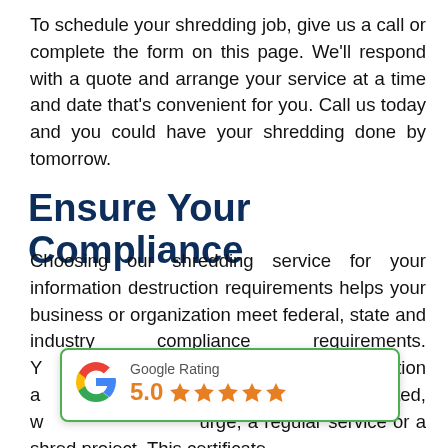To schedule your shredding job, give us a call or complete the form on this page. We'll respond with a quote and arrange your service at a time and date that's convenient for you. Call us today and you could have your shredding done by tomorrow.
Ensure Your Compliance
Choosing our shredding service for your information destruction requirements helps your business or organization meet federal, state and industry compliance requirements. Y[...] icate of Destruction a[...] s completed, w[...] urge, a regular service or a shred project. This certificate
[Figure (other): Google Rating widget showing 5.0 stars with Google G logo and green top border]